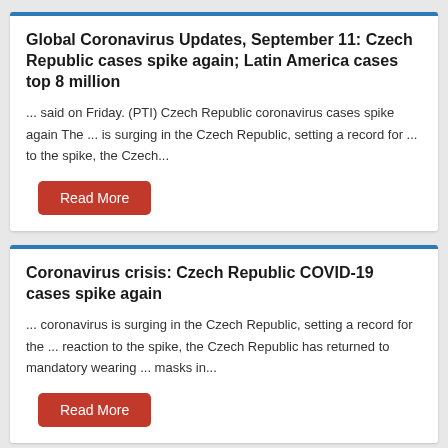Global Coronavirus Updates, September 11: Czech Republic cases spike again; Latin America cases top 8 million
... said on Friday. (PTI) Czech Republic coronavirus cases spike again The ... is surging in the Czech Republic, setting a record for ... to the spike, the Czech...
Coronavirus crisis: Czech Republic COVID-19 cases spike again
... coronavirus is surging in the Czech Republic, setting a record for the ... reaction to the spike, the Czech Republic has returned to mandatory wearing ... masks in...